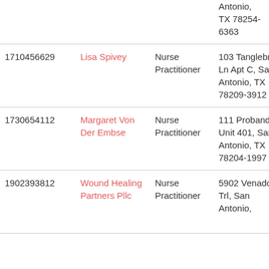| NPI | Name | Type | Address | Date |
| --- | --- | --- | --- | --- |
|  |  |  | Antonio, TX 78254-6363 |  |
| 1710456629 | Lisa Spivey | Nurse Practitioner | 103 Tanglebriar Ln Apt C, San Antonio, TX 78209-3912 | 2018-11-2 |
| 1730654112 | Margaret Von Der Embse | Nurse Practitioner | 111 Probandt Unit 401, San Antonio, TX 78204-1997 | 2018-10-1 |
| 1902393812 | Wound Healing Partners Pllc | Nurse Practitioner | 5902 Venado Trl, San Antonio, | 2018-04-1 |